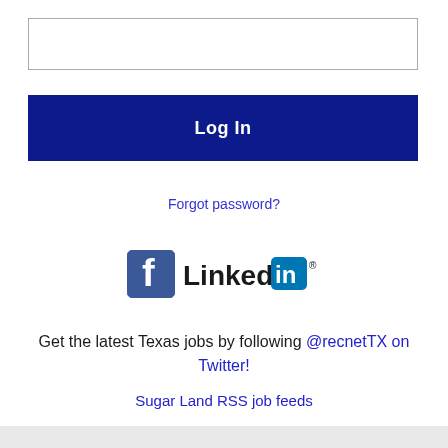[Figure (screenshot): Empty text input box for login credentials]
Log In
Forgot password?
[Figure (logo): Facebook logo icon and LinkedIn logo side by side]
Get the latest Texas jobs by following @recnetTX on Twitter!
Sugar Land RSS job feeds